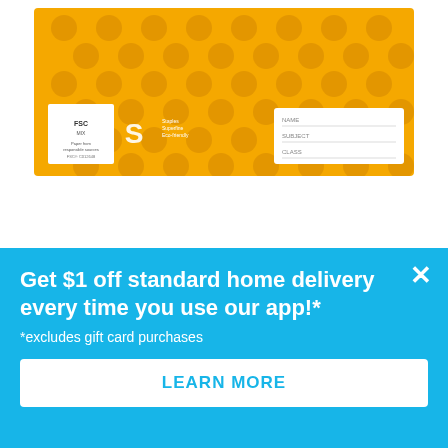[Figure (photo): Orange bubble-textured envelope/mailing bag product image with FSC certification logo on lower left and an address label area on lower right]
Qty: 1
$2.49
Get $1 off standard home delivery every time you use our app!* *excludes gift card purchases
LEARN MORE